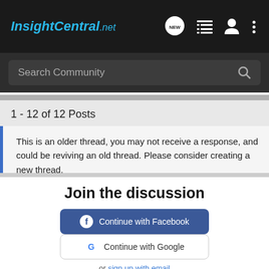InsightCentral.net
Search Community
1 - 12 of 12 Posts
This is an older thread, you may not receive a response, and could be reviving an old thread. Please consider creating a new thread.
Join the discussion
Continue with Facebook
Continue with Google
or sign up with email